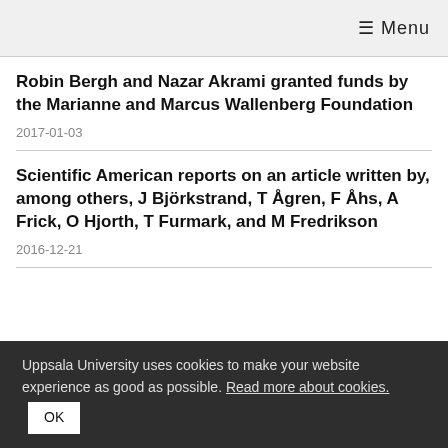☰ Menu
Robin Bergh and Nazar Akrami granted funds by the Marianne and Marcus Wallenberg Foundation
2017-01-03
Scientific American reports on an article written by, among others, J Björkstrand, T Ågren, F Åhs, A Frick, O Hjorth, T Furmark, and M Fredrikson
2016-12-21
Uppsala University uses cookies to make your website experience as good as possible. Read more about cookies. OK